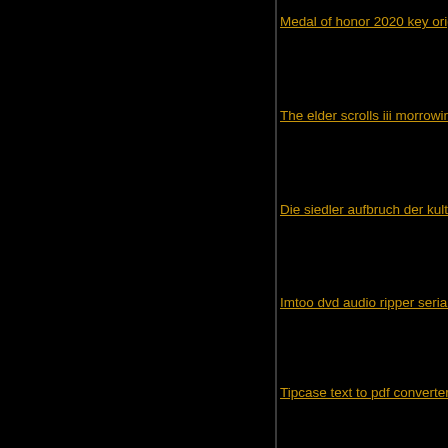Medal of honor 2020 key origin se…
The elder scrolls iii morrowind cra…
Die siedler aufbruch der kulturen p…
Imtoo dvd audio ripper serial key
Tipcase text to pdf converter 1.0
A scanner darkly un oscuro scruta…
Star wars republic commando stea…
Macx dvd ripper pro for windows la…
Vampire the masquerade bloodline…
Bookmarks
Digg
del.icio.us